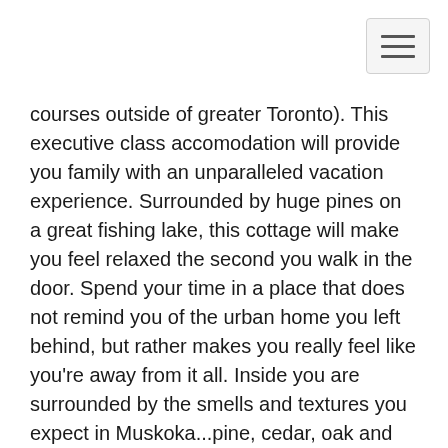courses outside of greater Toronto). This executive class accomodation will provide you family with an unparalleled vacation experience. Surrounded by huge pines on a great fishing lake, this cottage will make you feel relaxed the second you walk in the door. Spend your time in a place that does not remind you of the urban home you left behind, but rather makes you really feel like you're away from it all. Inside you are surrounded by the smells and textures you expect in Muskoka...pine, cedar, oak and real stone. The three fireplaces are built of real stone quaried within five miles of Three Mile Lake. Sit beside the black granite hearths and enjoy the simple pleasure of the smell of a real wood fire. When you hang your clothes, enjoy the pleasurable scent of the cedar lined closets throughout the premises. Outside, enjoy the beautifl look and smell of the cedar siding from nearby mills. As you walk to the kitchen enjoy the wide plank solid oak flooring beneath your feet. The ceiling and walls are generously trimmed in wide local pine so the entire place just feels....natural. When you step out of the shower enjoy the warmth of the heated slate tiles